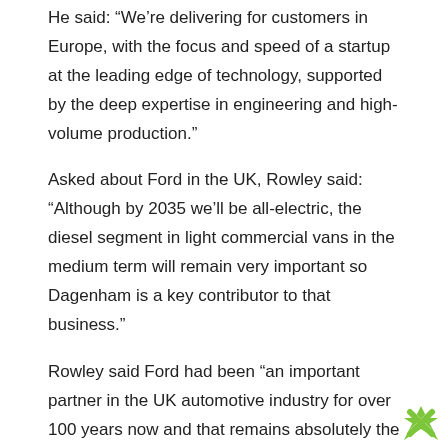He said: “We’re delivering for customers in Europe, with the focus and speed of a startup at the leading edge of technology, supported by the deep expertise in engineering and high-volume production.”
Asked about Ford in the UK, Rowley said: “Although by 2035 we’ll be all-electric, the diesel segment in light commercial vans in the medium term will remain very important so Dagenham is a key contributor to that business.”
Rowley said Ford had been “an important partner in the UK automotive industry for over 100 years now and that remains absolutely the case”. Last October it invested £230m to upgrade its Halewood plant in Merseyside for making electric vehicle parts.
New petrol and diesel vans will be banned from sale in the UK from 2030.
Ford will meanwhile be investing $2bn at its Cologne site and